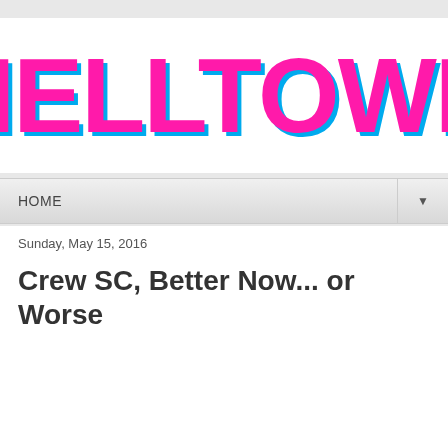HELLTOWN
HOME
Sunday, May 15, 2016
Crew SC, Better Now... or Worse